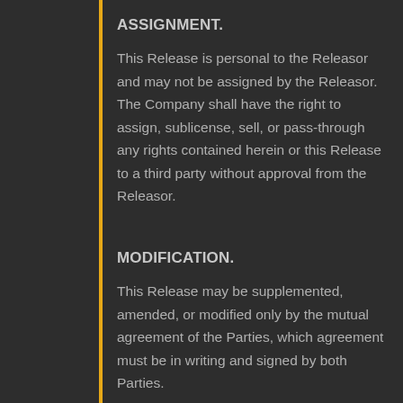ASSIGNMENT.
This Release is personal to the Releasor and may not be assigned by the Releasor. The Company shall have the right to assign, sublicense, sell, or pass-through any rights contained herein or this Release to a third party without approval from the Releasor.
MODIFICATION.
This Release may be supplemented, amended, or modified only by the mutual agreement of the Parties, which agreement must be in writing and signed by both Parties.
GOVERNING LAW.
This Release shall be governed by the laws of the